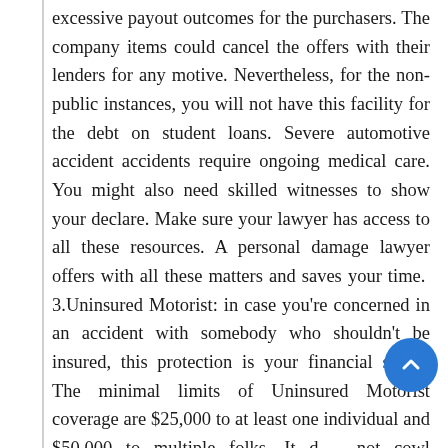excessive payout outcomes for the purchasers. The company items could cancel the offers with their lenders for any motive. Nevertheless, for the non-public instances, you will not have this facility for the debt on student loans. Severe automotive accident accidents require ongoing medical care. You might also need skilled witnesses to show your declare. Make sure your lawyer has access to all these resources. A personal damage lawyer offers with all these matters and saves your time. 3.Uninsured Motorist: in case you're concerned in an accident with somebody who shouldn't be insured, this protection is your financial safety. The minimal limits of Uninsured Motorist coverage are $25,000 to at least one individual and $50,000 to multiple folks. It does not cowl property harm. Some accidents effect in injuries that significantly affect your bodily features